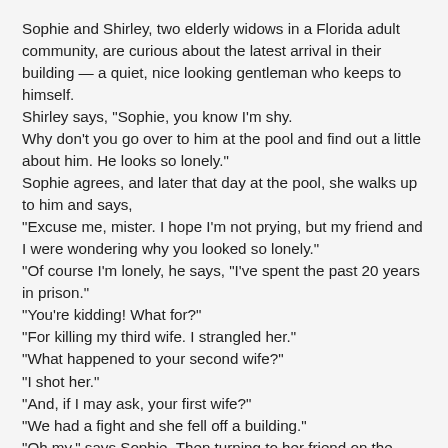Sophie and Shirley, two elderly widows in a Florida adult community, are curious about the latest arrival in their building — a quiet, nice looking gentleman who keeps to himself. Shirley says, "Sophie, you know I'm shy. Why don't you go over to him at the pool and find out a little about him. He looks so lonely." Sophie agrees, and later that day at the pool, she walks up to him and says, "Excuse me, mister. I hope I'm not prying, but my friend and I were wondering why you looked so lonely." "Of course I'm lonely, he says, "I've spent the past 20 years in prison." "You're kidding! What for?" "For killing my third wife. I strangled her." "What happened to your second wife?" "I shot her." "And, if I may ask, your first wife?" "We had a fight and she fell off a building." "Oh my," says Sophie. Then turning to her friend on the other side of the pool, she yells,